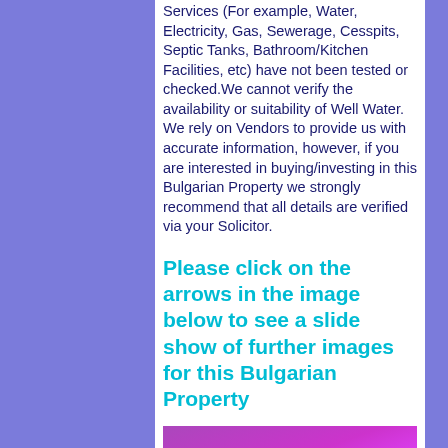Services (For example, Water, Electricity, Gas, Sewerage, Cesspits, Septic Tanks, Bathroom/Kitchen Facilities, etc) have not been tested or checked.We cannot verify the availability or suitability of Well Water. We rely on Vendors to provide us with accurate information, however, if you are interested in buying/investing in this Bulgarian Property we strongly recommend that all details are verified via your Solicitor.
Please click on the arrows in the image below to see a slide show of further images for this Bulgarian Property
[Figure (photo): A purple/magenta colored rectangular image placeholder at the bottom of the page]